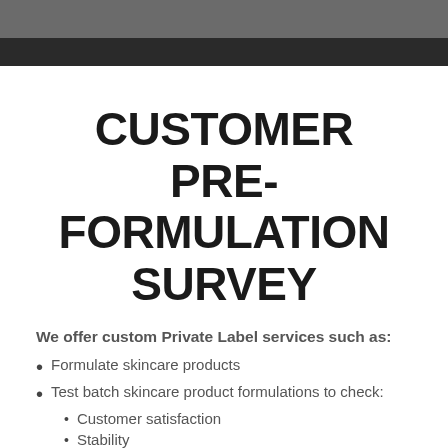CUSTOMER PRE-FORMULATION SURVEY
We offer custom Private Label services such as:
Formulate skincare products
Test batch skincare product formulations to check:
Customer satisfaction
Stability
Mold fungus and bacteria testing
We work closely with our customers to ensure all